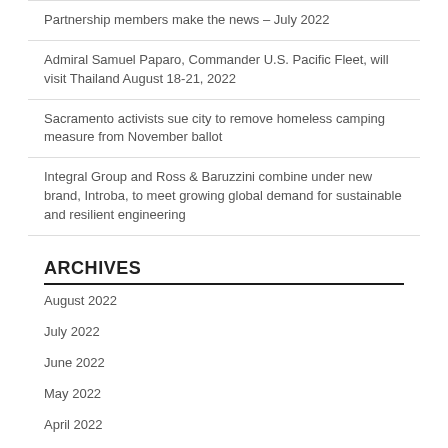Partnership members make the news – July 2022
Admiral Samuel Paparo, Commander U.S. Pacific Fleet, will visit Thailand August 18-21, 2022
Sacramento activists sue city to remove homeless camping measure from November ballot
Integral Group and Ross & Baruzzini combine under new brand, Introba, to meet growing global demand for sustainable and resilient engineering
ARCHIVES
August 2022
July 2022
June 2022
May 2022
April 2022
March 2022